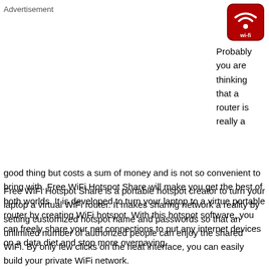Advertisement
[Figure (logo): WiFi Hotspot Share app icon — dark red rounded square with white WiFi symbol and 'wi-fi' text]
Probably you are thinking that a router is really a good thing but costs a sum of money and is not so convenient to bring with. Free WiFi Hotspot Share will make you get the best of both worlds. It is developed to turn your laptop to a virtue portable router by creating WiFi hotspot. With this hotspot software, you can freely share your net connections to put any internet devices on a data diet and stop more overpaying.
Free WiFi Hotspot Share is a portable hotspot creator to turn your laptop a virtual WiFi router. It makes sharing network a reality by setting customized hotspot name and passwords so that an unlimited number of authorized people can enjoy the shared WiFi. By only few clicks on the neat interface, you can easily build your private WiFi network.